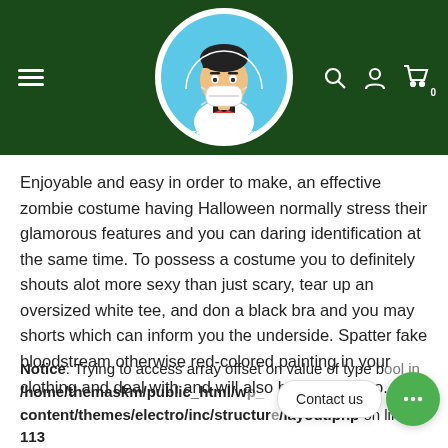THE MASKMAN PK — website header with logo and navigation icons
Enjoyable and easy in order to make, an effective zombie costume having Halloween normally stress their glamorous features and you can daring identification at the same time. To possess a costume you to definitely shouts alot more sexy than just scary, tear up an oversized white tee, and don a black bra and you may shorts which can inform you the underside. Spatter fake bloodstream otherwise red-colored painting in your clothing and deal with and will also be ready to go.
Notice: Trying to access array offset on value of type bool in /home/themaskm/public_html/wp_content/themes/electro/inc/structure/layout.php on line 113